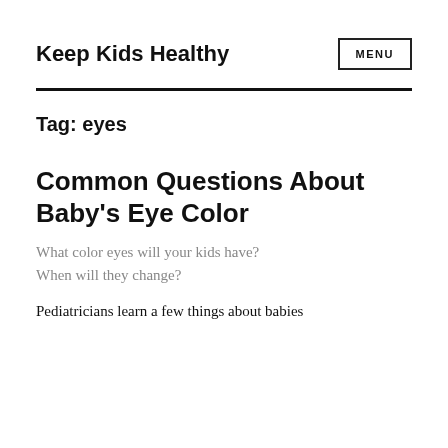Keep Kids Healthy
Tag: eyes
Common Questions About Baby's Eye Color
What color eyes will your kids have? When will they change?
Pediatricians learn a few things about babies